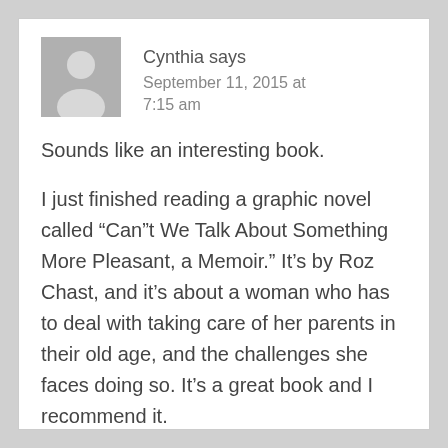Cynthia says
September 11, 2015 at 7:15 am
Sounds like an interesting book.
I just finished reading a graphic novel called “Can”t We Talk About Something More Pleasant, a Memoir.” It’s by Roz Chast, and it’s about a woman who has to deal with taking care of her parents in their old age, and the challenges she faces doing so. It’s a great book and I recommend it.